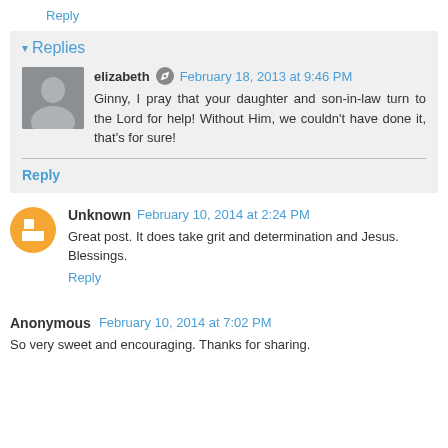Reply
Replies
elizabeth  February 18, 2013 at 9:46 PM
Ginny, I pray that your daughter and son-in-law turn to the Lord for help! Without Him, we couldn't have done it, that's for sure!
Reply
Unknown  February 10, 2014 at 2:24 PM
Great post. It does take grit and determination and Jesus. Blessings.
Reply
Anonymous  February 10, 2014 at 7:02 PM
So very sweet and encouraging. Thanks for sharing.